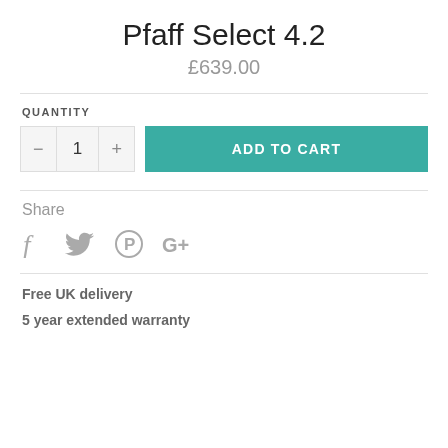Pfaff Select 4.2
£639.00
QUANTITY
ADD TO CART
Share
[Figure (infographic): Social media icons: Facebook (f), Twitter (bird), Pinterest (P circle), Google+ (G+)]
Free UK delivery
5 year extended warranty